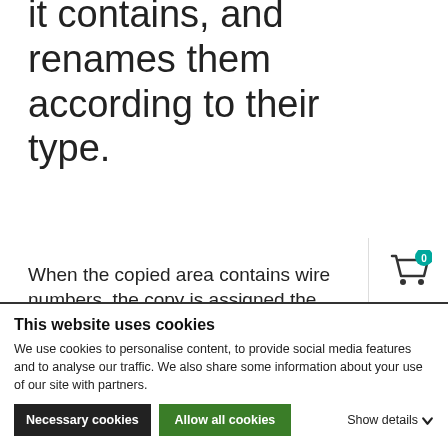types of terminals it contains, and renames them according to their type.
When the copied area contains wire numbers, the copy is assigned the next available wire numbers – following the
[Figure (illustration): Shopping basket/cart icon with teal badge showing '0', and vertical 'Basket' label text]
This website uses cookies
We use cookies to personalise content, to provide social media features and to analyse our traffic. We also share some information about your use of our site with partners.
Necessary cookies   Allow all cookies   Show details ▾